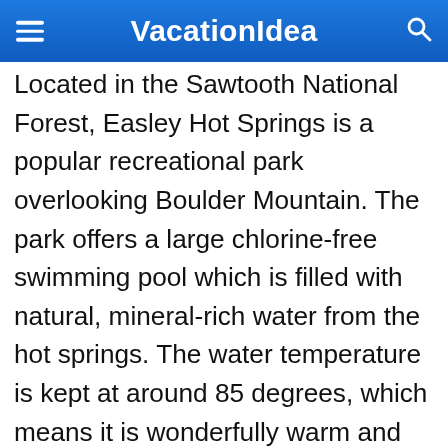VacationIdea
Located in the Sawtooth National Forest, Easley Hot Springs is a popular recreational park overlooking Boulder Mountain. The park offers a large chlorine-free swimming pool which is filled with natural, mineral-rich water from the hot springs. The water temperature is kept at around 85 degrees, which means it is wonderfully warm and welcoming. In addition to the main pool there are two slightly warmer hot-tubs for wallowing. There are showers and changing cubicles on site as well as a store where you can buy sodas and snacks. Visitors are also welcome to bring